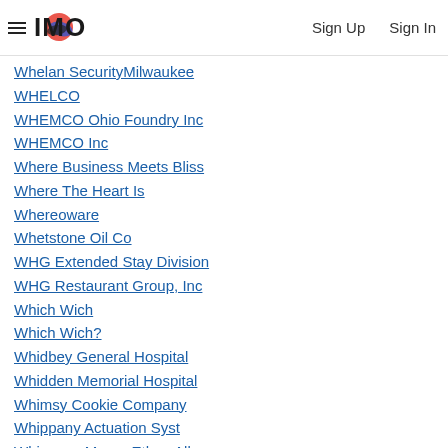IMO | Sign Up | Sign In
Whelan Security Milwaukee
WHELCO
WHEMCO Ohio Foundry Inc
WHEMCO Inc
Where Business Meets Bliss
Where The Heart Is
Whereoware
Whetstone Oil Co
WHG Extended Stay Division
WHG Restaurant Group, Inc
Which Wich
Which Wich?
Whidbey General Hospital
Whidden Memorial Hospital
Whimsy Cookie Company
Whippany Actuation Syst
Whippany Manor Ethan Allen
Whirlpool
Whirlpool Corporation
Whirlpool Corporation Fall River Commercial Laundry
Whirlpool Business Solutions Co